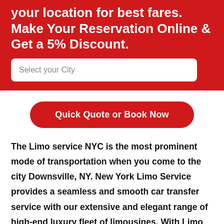your location for best fares. Make Your Reservation Online & Get a 5% Discount.
Select your City
Quick Quote or Book Now
The Limo service NYC is the most prominent mode of transportation when you come to the city Downsville, NY. New York Limo Service provides a seamless and smooth car transfer service with our extensive and elegant range of high-end luxury fleet of limousines. With Limo service New York at your service, we assure you to get you the most extraordinary, sophisticated, and enticing lifetime